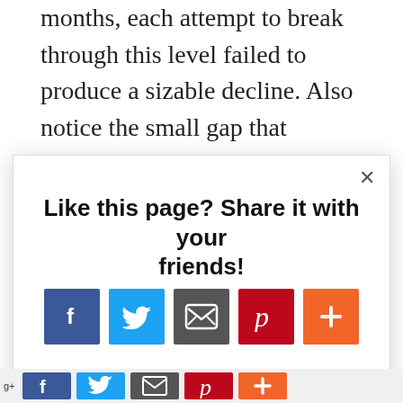months, each attempt to break through this level failed to produce a sizable decline. Also notice the small gap that occurred in early October. The December selloff closed this gap, and in doing so, introduced the subsequent rally. I have mentioned before how gaps often attract prices like magnets at first. Then they repel them — literally. Prices fill the gap and flee the scene, you could say.
[Figure (screenshot): A modal popup overlay with a white background and drop shadow, containing an X close button in the top right, the heading 'Like this page? Share it with your friends!', and five social sharing icon buttons: Facebook (blue with f icon), Twitter (light blue with bird icon), Email (grey with envelope icon), Pinterest (dark red with P icon), and a orange plus/share button. Below the modal at the bottom right is an AddThis branding bar.]